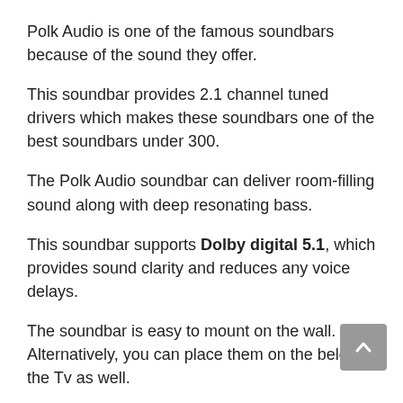Polk Audio is one of the famous soundbars because of the sound they offer.
This soundbar provides 2.1 channel tuned drivers which makes these soundbars one of the best soundbars under 300.
The Polk Audio soundbar can deliver room-filling sound along with deep resonating bass.
This soundbar supports Dolby digital 5.1, which provides sound clarity and reduces any voice delays.
The soundbar is easy to mount on the wall. Alternatively, you can place them on the below the Tv as well.